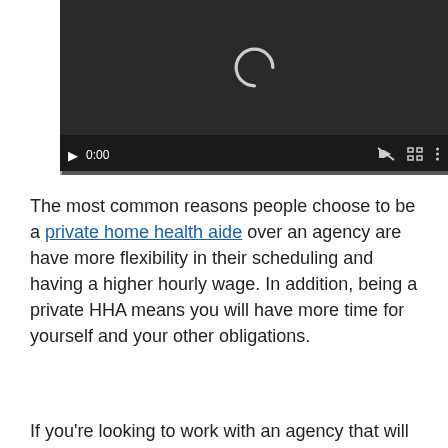[Figure (screenshot): A video player with a dark background showing a loading spinner (partial arc/C shape), with playback controls: play button, time display '0:00', mute icon, fullscreen icon, and options icon. A progress bar is at the bottom.]
The most common reasons people choose to be a private home health aide over an agency are have more flexibility in their scheduling and having a higher hourly wage. In addition, being a private HHA means you will have more time for yourself and your other obligations.
If you're looking to work with an agency that will